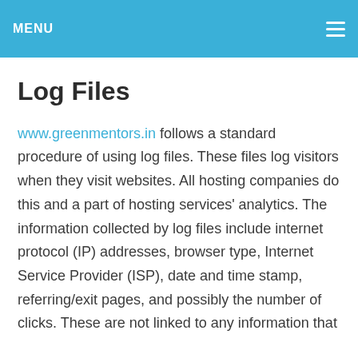MENU
Log Files
www.greenmentors.in follows a standard procedure of using log files. These files log visitors when they visit websites. All hosting companies do this and a part of hosting services' analytics. The information collected by log files include internet protocol (IP) addresses, browser type, Internet Service Provider (ISP), date and time stamp, referring/exit pages, and possibly the number of clicks. These are not linked to any information that